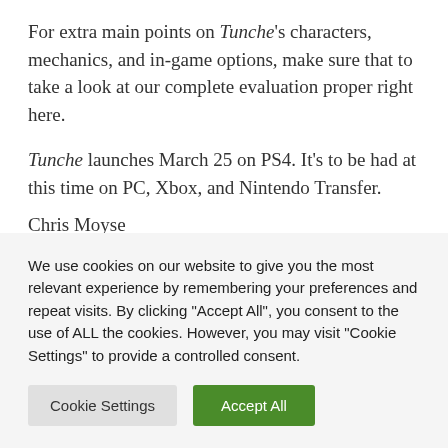For extra main points on Tunche's characters, mechanics, and in-game options, make sure that to take a look at our complete evaluation proper right here.
Tunche launches March 25 on PS4. It's to be had at this time on PC, Xbox, and Nintendo Transfer.
Chris Moyse
Senior Editor – Chris has been enjoying video video
We use cookies on our website to give you the most relevant experience by remembering your preferences and repeat visits. By clicking "Accept All", you consent to the use of ALL the cookies. However, you may visit "Cookie Settings" to provide a controlled consent.